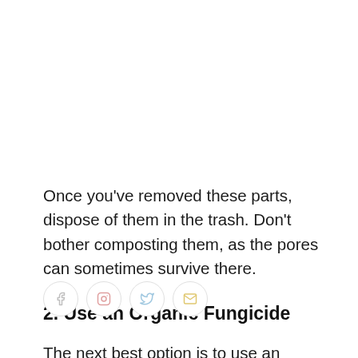Once you've removed these parts, dispose of them in the trash. Don't bother composting them, as the pores can sometimes survive there.
2. Use an Organic Fungicide
The next best option is to use an organic fungicide. Like one with copper or potassium bicarbonate, both of which will help stop the spread of disease.